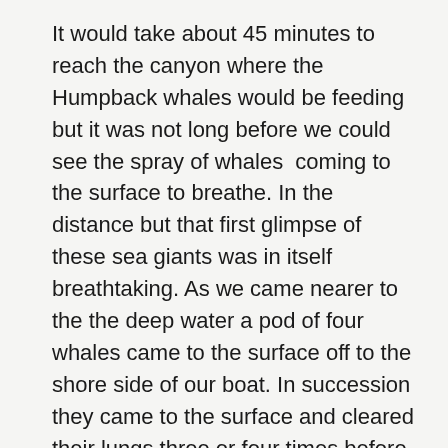It would take about 45 minutes to reach the canyon where the Humpback whales would be feeding but it was not long before we could see the spray of whales  coming to the surface to breathe. In the distance but that first glimpse of these sea giants was in itself breathtaking. As we came nearer to the the deep water a pod of four whales came to the surface off to the shore side of our boat. In succession they came to the surface and cleared their lungs three or four times before diving to the depths with a flick of their uniquely marked tails. We were left speechless to be in the presence of such amazing animals and close enough to hear them breathing out, spraying a fine mist of water into the air which caught the light as a rainbow of colours. Minutes later they resurface and the boat turns to make sure we get the best views. Again we all watch, some with cameras trying to catch that prefect wildlife photographer shot, but all in silence as the whales prepare to dive. Their next surface was much closer to the boat  with some spectacular fin waves. Time was coming to an end for our time in the bay and with one